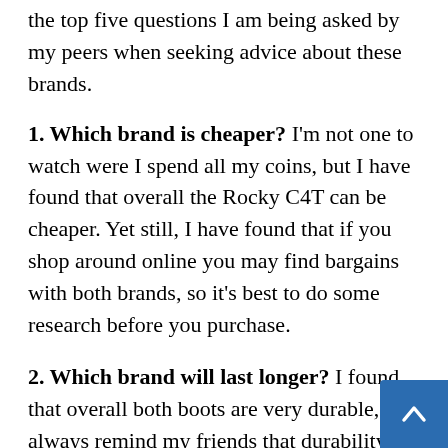the top five questions I am being asked by my peers when seeking advice about these brands.
1. Which brand is cheaper? I'm not one to watch were I spend all my coins, but I have found that overall the Rocky C4T can be cheaper. Yet still, I have found that if you shop around online you may find bargains with both brands, so it's best to do some research before you purchase.
2. Which brand will last longer? I found that overall both boots are very durable, and always remind my friends that durability is really determined by what a person does on the job on a daily basis. With that being said, if I had to choose one of the boots, it w